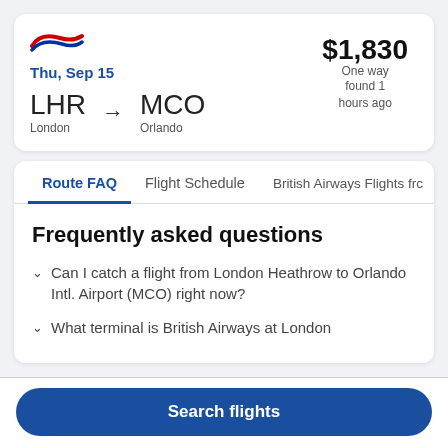[Figure (logo): British Airways logo (red and blue swoosh)]
Thu, Sep 15
LHR → MCO
London   Orlando
$1,830
One way
found 1 hours ago
Route FAQ
Flight Schedule
British Airways Flights frc
Frequently asked questions
Can I catch a flight from London Heathrow to Orlando Intl. Airport (MCO) right now?
What terminal is British Airways at London
Search flights